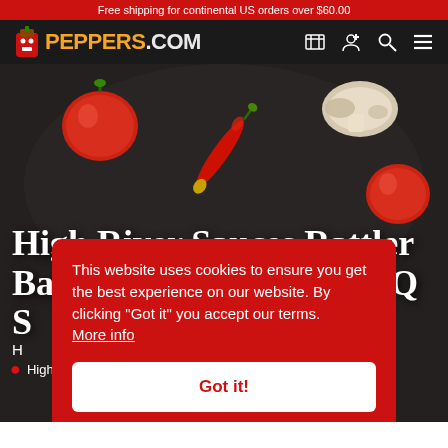Free shipping for continental US orders over $60.00
[Figure (screenshot): Peppers.com website header with logo, cart, account, search and menu icons on dark background]
[Figure (photo): Dark textured food background with tomatoes, chili pepper, and mushrooms overhead shot]
High River Sauces Rattler Barbecue with a Bite BBQ S
H
High
This website uses cookies to ensure you get the best experience on our website. By clicking "Got it" you accept our terms. More info
Got it!